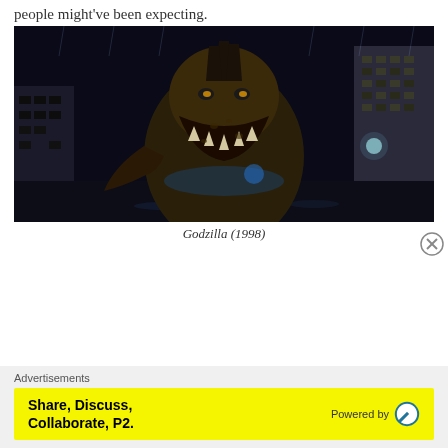people might've been expecting.
[Figure (photo): A movie still from Godzilla (1998) showing the monster roaring in a dark rainy city street at night, surrounded by tall buildings.]
Godzilla (1998)
Advertisements
[Figure (infographic): Yellow advertisement banner reading 'Share, Discuss, Collaborate, P2.' with 'Powered by' and a WordPress logo on the right.]